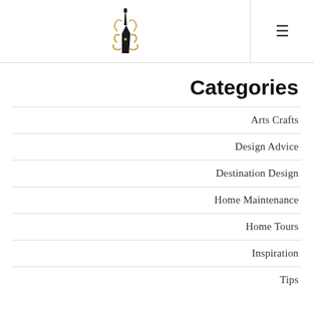[Figure (logo): Arabic logo mark — stylized Arabic calligraphy in black and gold forming the letters Al-Burr or similar]
Categories
Arts Crafts
Design Advice
Destination Design
Home Maintenance
Home Tours
Inspiration
Tips